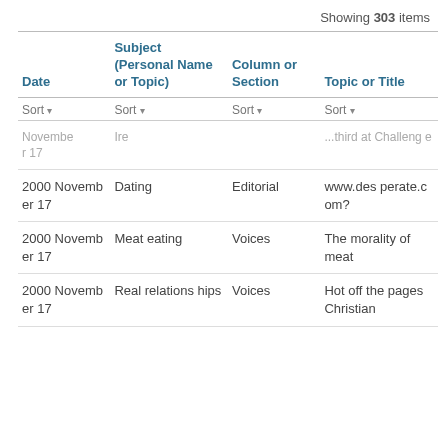Showing 303 items
| Date | Subject (Personal Name or Topic) | Column or Section | Topic or Title |
| --- | --- | --- | --- |
| November 17 | Ire |  | ...third at Challenge |
| 2000 November 17 | Dating | Editorial | www.desperate.com? |
| 2000 November 17 | Meat eating | Voices | The morality of meat |
| 2000 November 17 | Real relationships | Voices | Hot off the pages Christian |